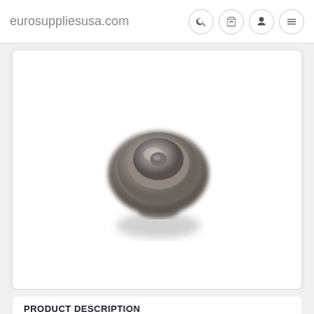eurosuppliesusa.com
[Figure (photo): A round cabinet knob with a brushed nickel / pewter finish, showing concentric ring detailing on top and a small screw mount base, photographed on a white background with soft shadow.]
PRODUCT DESCRIPTION